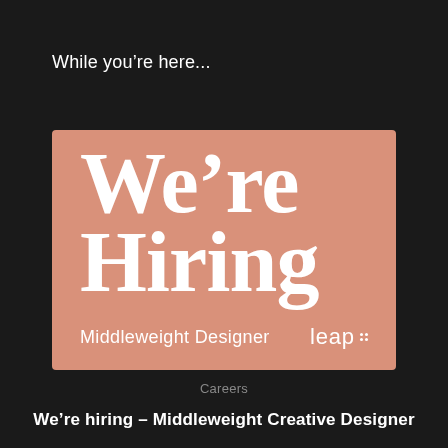While you're here...
[Figure (infographic): Salmon/terracotta colored recruitment card with large bold white serif text reading 'We're Hiring', subtitle 'Middleweight Designer', and 'leap' logo with dot pattern in bottom right corner]
Careers
We're hiring – Middleweight Creative Designer